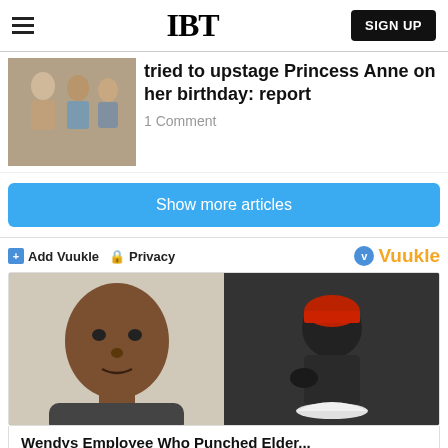IBT | SIGN UP
tried to upstage Princess Anne on her birthday: report
1 Comment
Show more articles
+ Add Vuukle  Privacy    Vuukle
[Figure (photo): Two photos side by side: left shows a man's mugshot, right shows a security camera image of a person in a red hat]
Wendys Employee Who Punched Elder...
Read More   11 comments 🔥   😠 72%